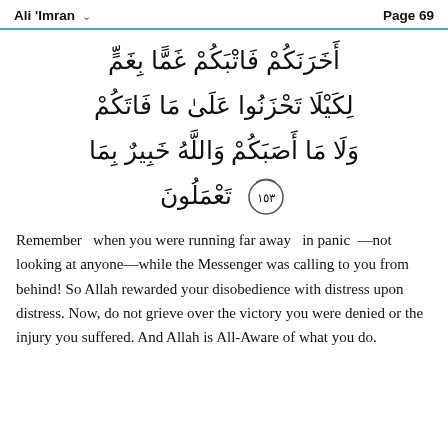Ali 'Imran   Page 69
أَخَرَنَكُمْ فَاتْبَكُمْ غَمًّا بِغَمٍّ لِكَيْلَا تَحْزَنُوا عَلَىٰ مَا فَاتَكُمْ وَلَا مَا أَصَبَكُمْ وَاللَّهُ خَبِيرٌ بِمَا تَعْمَلُونَ ١٥٣
Remember when you were running far away in panic —not looking at anyone—while the Messenger was calling to you from behind! So Allah rewarded your disobedience with distress upon distress. Now, do not grieve over the victory you were denied or the injury you suffered. And Allah is All-Aware of what you do.